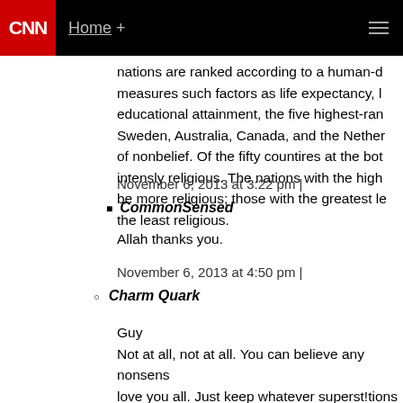CNN | Home +
nations are ranked according to a human-d... measures such factors as life expectancy, l... educational attainment, the five highest-ran... Sweden, Australia, Canada, and the Nether... of nonbelief. Of the fifty countires at the bot... intensly religious. The nations with the high... be more religious; those with the greatest le... the least religious.
November 6, 2013 at 3:22 pm |
CommonSensed
Allah thanks you.
November 6, 2013 at 4:50 pm |
Charm Quark
Guy
Not at all, not at all. You can believe any nonsens... love you all. Just keep whatever superst!tions yo...